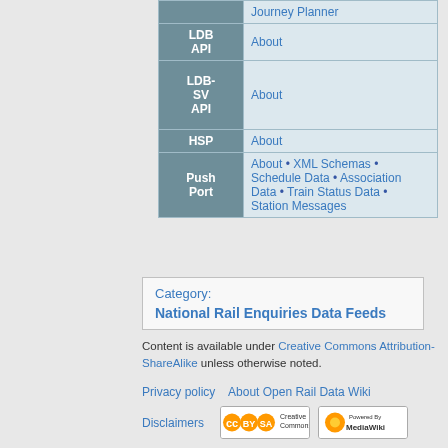| API | Links |
| --- | --- |
|  | Journey Planner |
| LDB API | About |
| LDB-SV API | About |
| HSP | About |
| Push Port | About • XML Schemas • Schedule Data • Association Data • Train Status Data • Station Messages |
Category: National Rail Enquiries Data Feeds
Content is available under Creative Commons Attribution-ShareAlike unless otherwise noted.
Privacy policy · About Open Rail Data Wiki · Disclaimers